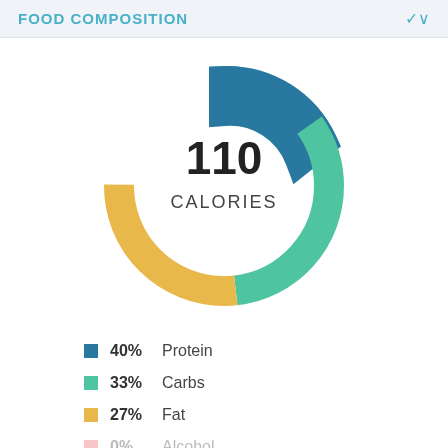FOOD COMPOSITION
[Figure (donut-chart): 110 CALORIES]
40%  Protein
33%  Carbs
27%  Fat
0%  Alcohol